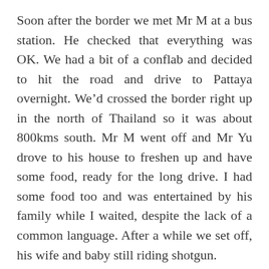Soon after the border we met Mr M at a bus station. He checked that everything was OK. We had a bit of a conflab and decided to hit the road and drive to Pattaya overnight. We'd crossed the border right up in the north of Thailand so it was about 800kms south. Mr M went off and Mr Yu drove to his house to freshen up and have some food, ready for the long drive. I had some food too and was entertained by his family while I waited, despite the lack of a common language. After a while we set off, his wife and baby still riding shotgun.
There's not much to say about a journey like that. I dozed on and off in the back. We stopped a few times, for essentials and for